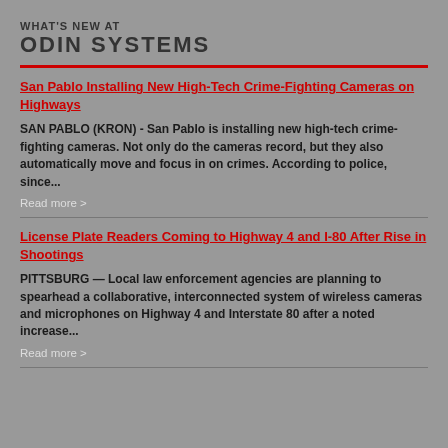WHAT'S NEW AT ODIN SYSTEMS
San Pablo Installing New High-Tech Crime-Fighting Cameras on Highways
SAN PABLO (KRON) - San Pablo is installing new high-tech crime-fighting cameras. Not only do the cameras record, but they also automatically move and focus in on crimes. According to police, since...
Read more >
License Plate Readers Coming to Highway 4 and I-80 After Rise in Shootings
PITTSBURG — Local law enforcement agencies are planning to spearhead a collaborative, interconnected system of wireless cameras and microphones on Highway 4 and Interstate 80 after a noted increase...
Read more >